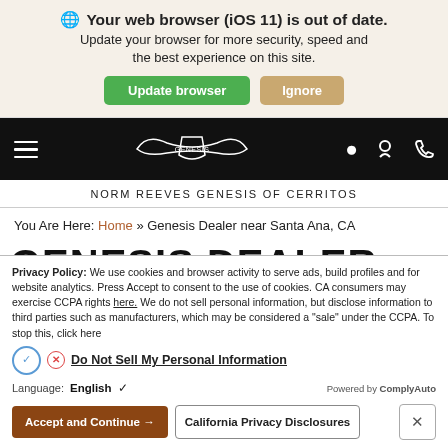Your web browser (iOS 11) is out of date. Update your browser for more security, speed and the best experience on this site.
[Figure (screenshot): Genesis dealer website navigation bar with hamburger menu, Genesis winged logo, location pin and phone icons on black background]
NORM REEVES GENESIS OF CERRITOS
You Are Here: Home » Genesis Dealer near Santa Ana, CA
GENESIS DEALER NEAR SANTA
Privacy Policy: We use cookies and browser activity to serve ads, build profiles and for website analytics. Press Accept to consent to the use of cookies. CA consumers may exercise CCPA rights here. We do not sell personal information, but disclose information to third parties such as manufacturers, which may be considered a "sale" under the CCPA. To stop this, click here
Do Not Sell My Personal Information
Language: English  Powered by ComplyAuto
Accept and Continue →   California Privacy Disclosures   ×